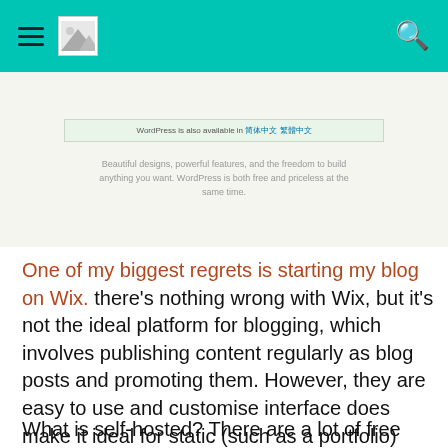Navigation header with hamburger menu, logo, and search icon
[Figure (screenshot): Screenshot of WordPress website showing a green banner with 'WordPress is also available in 简体中文 繁體中文' text, and tagline 'Beautiful designs, powerful features, and the freedom to build anything you want. WordPress is both free and priceless at the same time.']
One of my biggest regrets is starting my blog on Wix. there's nothing wrong with Wix, but it's not the ideal platform for blogging, which involves publishing content regularly as blog posts and promoting them. However, they are easy to use and customise interface does make it ideal for static (such as a portfolio) website.
What is self-hosted? There are a lot of free platforms out there you can use, but you can't